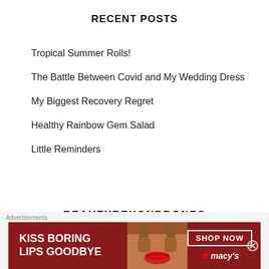RECENT POSTS
Tropical Summer Rolls!
The Battle Between Covid and My Wedding Dress
My Biggest Recovery Regret
Healthy Rainbow Gem Salad
Little Reminders
BEAUTYBEYONDBONES
[Figure (infographic): Macy's advertisement banner: 'KISS BORING LIPS GOODBYE' with SHOP NOW button and Macy's logo, featuring a woman's face with red lips]